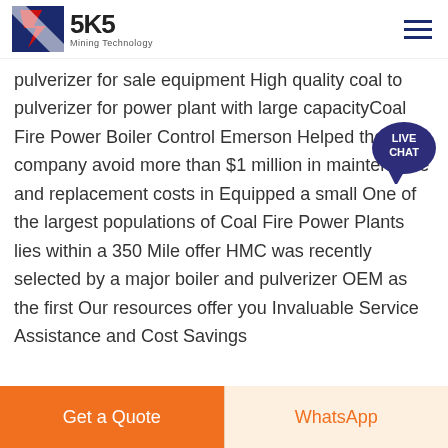SKS Mining Technology
pulverizer for sale equipment High quality coal to pulverizer for power plant with large capacityCoal Fire Power Boiler Control Emerson Helped the company avoid more than $1 million in maintenance and replacement costs in Equipped a small One of the largest populations of Coal Fire Power Plants lies within a 350 Mile offer HMC was recently selected by a major boiler and pulverizer OEM as the first Our resources offer you Invaluable Service Assistance and Cost Savings
Contact Now
Get a Quote
WhatsApp